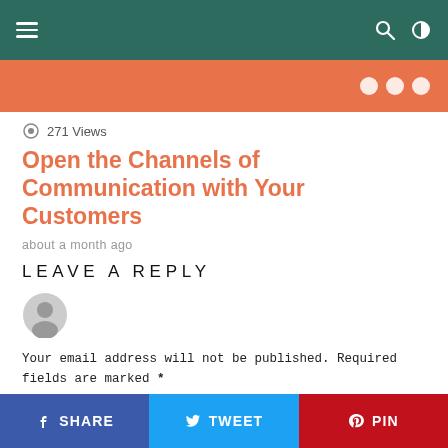Navigation bar with hamburger menu, search, and dark mode icons
[Figure (illustration): Orange banner strip with white dot decorations on the right]
271 Views
Open the Channels of Communication with Your Customers
about a month ago
LEAVE A REPLY
[Figure (illustration): Gray avatar/user icon circle]
Your email address will not be published. Required fields are marked *
Comment*
SHARE   TWEET   PIN